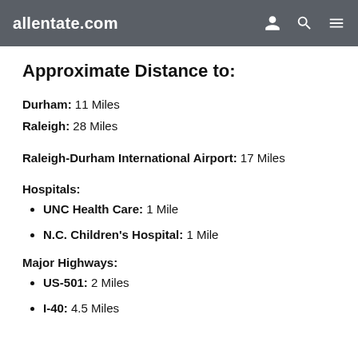allentate.com
Approximate Distance to:
Durham: 11 Miles
Raleigh: 28 Miles
Raleigh-Durham International Airport: 17 Miles
Hospitals:
UNC Health Care: 1 Mile
N.C. Children's Hospital: 1 Mile
Major Highways:
US-501: 2 Miles
I-40: 4.5 Miles